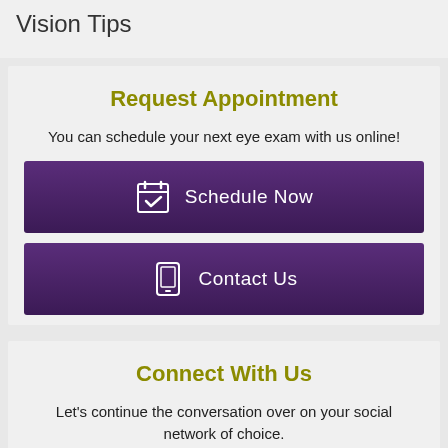Vision Tips
Request Appointment
You can schedule your next eye exam with us online!
Schedule Now
Contact Us
Connect With Us
Let's continue the conversation over on your social network of choice.